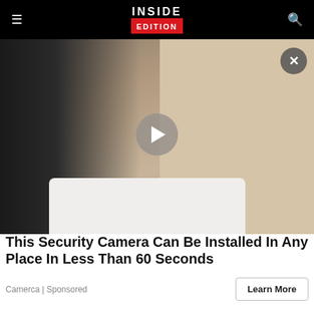INSIDE EDITION
[Figure (photo): Video thumbnail showing a woman in black clothing leaning over a bathtub where two young children are sitting. A play button overlay is centered on the image and a close (X) button is in the top right corner.]
This Security Camera Can Be Installed In Any Place In Less Than 60 Seconds
Camerca | Sponsored
Learn More